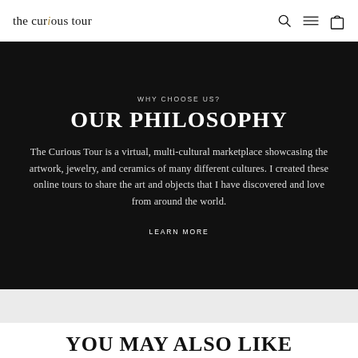the curious tour
WHY CHOOSE US?
OUR PHILOSOPHY
The Curious Tour is a virtual, multi-cultural marketplace showcasing the artwork, jewelry, and ceramics of many different cultures. I created these online tours to share the art and objects that I have discovered and love from around the world.
LEARN MORE
YOU MAY ALSO LIKE